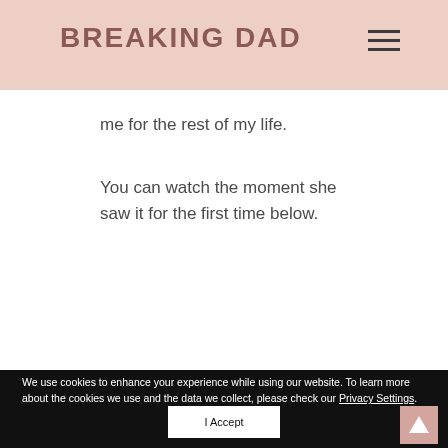BREAKING DAD
me for the rest of my life.
You can watch the moment she saw it for the first time below.
We use cookies to enhance your experience while using our website. To learn more about the cookies we use and the data we collect, please check our Privacy Settings.
I Accept